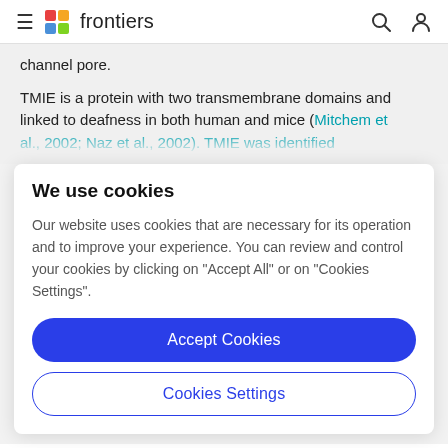frontiers
channel pore.
TMIE is a protein with two transmembrane domains and linked to deafness in both human and mice (Mitchem et al., 2002; Naz et al., 2002). TMIE was identified...
We use cookies
Our website uses cookies that are necessary for its operation and to improve your experience. You can review and control your cookies by clicking on "Accept All" or on "Cookies Settings".
Accept Cookies
Cookies Settings